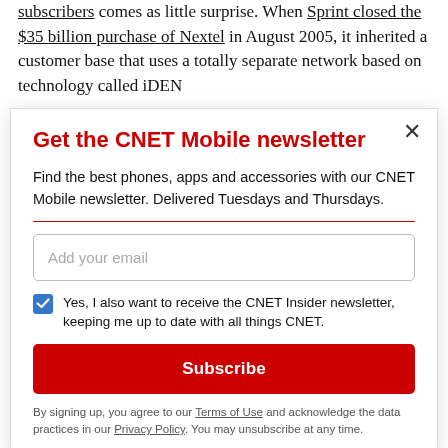subscribers comes as little surprise. When Sprint closed the $35 billion purchase of Nextel in August 2005, it inherited a customer base that uses a totally separate network based on technology called iDEN
Get the CNET Mobile newsletter
Find the best phones, apps and accessories with our CNET Mobile newsletter. Delivered Tuesdays and Thursdays.
Add your email
Yes, I also want to receive the CNET Insider newsletter, keeping me up to date with all things CNET.
Subscribe
By signing up, you agree to our Terms of Use and acknowledge the data practices in our Privacy Policy. You may unsubscribe at any time.